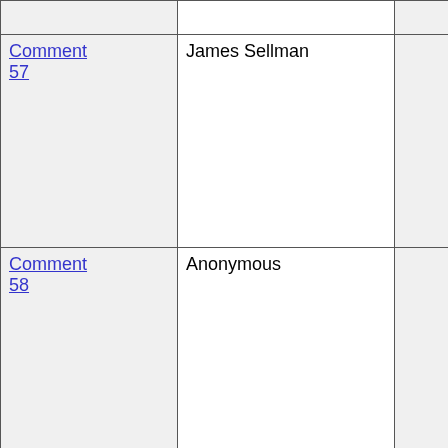| Comment | Name |  | Date |
| --- | --- | --- | --- |
| Comment 57 | James Sellman |  | 03-Jun-2003 08:17 GMT |
| Comment 58 | Anonymous |  | 03-Jun-2003 08:18 GMT |
| Comment 59 | Anonymous |  | 03-Jun-2003 08:19 GMT |
| Comment 60 | Olegil |  | 03-Jun-2003 08:21 GMT |
| Comment 61 | Anonymous |  | 03-Jun-2003 |